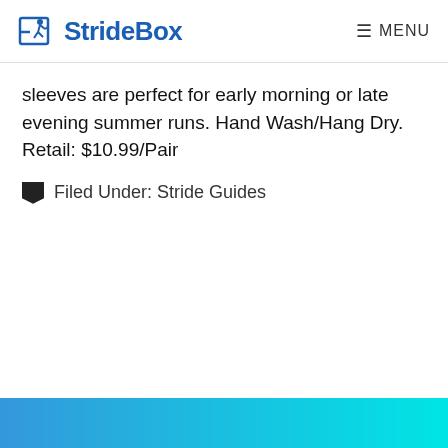StrideBox | MENU
sleeves are perfect for early morning or late evening summer runs. Hand Wash/Hang Dry. Retail: $10.99/Pair
Filed Under: Stride Guides